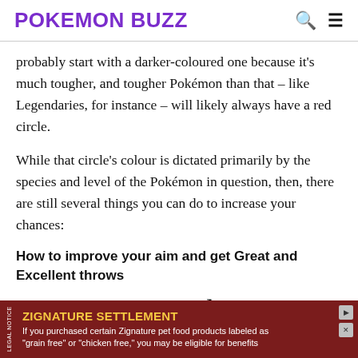POKEMON BUZZ
probably start with a darker-coloured one because it's much tougher, and tougher Pokémon than that – like Legendaries, for instance – will likely always have a red circle.
While that circle's colour is dictated primarily by the species and level of the Pokémon in question, then, there are still several things you can do to increase your chances:
How to improve your aim and get Great and Excellent throws
How To Hunt Shiny Pokmon In
[Figure (other): Advertisement banner for Zignature Settlement. Dark red background with yellow title 'ZIGNATURE SETTLEMENT' and white body text: 'If you purchased certain Zignature pet food products labeled as "grain free" or "chicken free," you may be eligible for benefits'. Includes a vertical 'LEGAL NOTICE' label on the left side.]